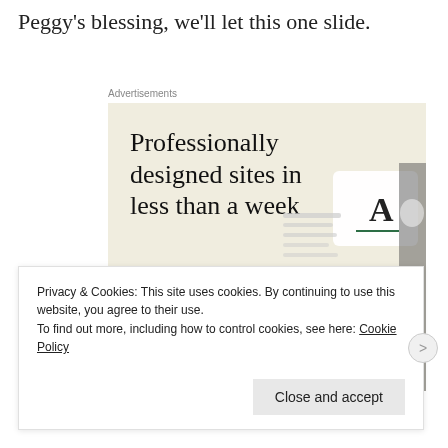Peggy's blessing, we'll let this one slide.
Advertisements
[Figure (screenshot): Advertisement for a website design service. Beige background with large serif text reading 'Professionally designed sites in less than a week', a green 'Explore options' button, and mockup images of website layouts on the right side.]
Privacy & Cookies: This site uses cookies. By continuing to use this website, you agree to their use.
To find out more, including how to control cookies, see here: Cookie Policy